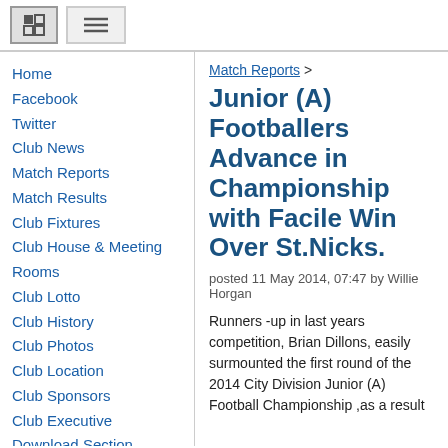[logo button] [menu button]
Home
Facebook
Twitter
Club News
Match Reports
Match Results
Club Fixtures
Club House & Meeting Rooms
Club Lotto
Club History
Club Photos
Club Location
Club Sponsors
Club Executive
Download Section
Camogie Section
Camogie Home
Camogie News
Code of Conduct Brian Dillons
Match Reports >
Junior (A) Footballers Advance in Championship with Facile Win Over St.Nicks.
posted 11 May 2014, 07:47 by Willie Horgan
Runners -up in last years competition, Brian Dillons, easily surmounted the first round of the 2014 City Division Junior (A) Football Championship ,as a result